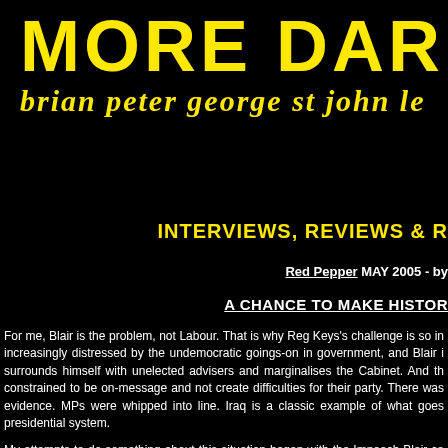MORE DARK T
brian peter george st john le
INTERVIEWS, REVIEWS & R
Red Pepper MAY 2005 - by
A CHANCE TO MAKE HISTOR
For me, Blair is the problem, not Labour. That is why Reg Keys's challenge is so in increasingly distressed by the undemocratic goings-on in government, and Blair i surrounds himself with unelected advisers and marginalises the Cabinet. And th constrained to be on-message and not create difficulties for their party. There was evidence. MPs were whipped into line. Iraq is a classic example of what goes presidential system.
My attempts to do something about this situation began with the Impeach Blair ca parliamentary bureaucracy. The next idea was a single-issue anti-war candidate heard of Reg Keys, who had been planning to stand against defence secretary Ge We liked him. Martin Bell summed up our feelings: I count it an honour and a privile a politician ought to be: brave, committed and truthful. He has the potential to chan